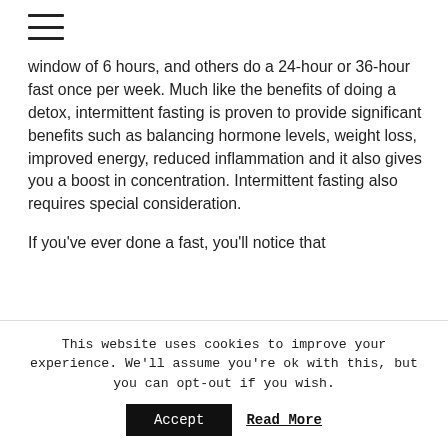≡
window of 6 hours, and others do a 24-hour or 36-hour fast once per week. Much like the benefits of doing a detox, intermittent fasting is proven to provide significant benefits such as balancing hormone levels, weight loss, improved energy, reduced inflammation and it also gives you a boost in concentration. Intermittent fasting also requires special consideration.

If you've ever done a fast, you'll notice that
This website uses cookies to improve your experience. We'll assume you're ok with this, but you can opt-out if you wish.
Accept   Read More